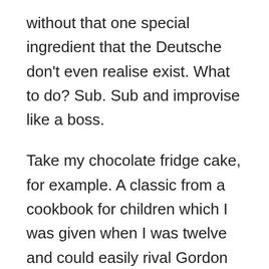without that one special ingredient that the Deutsche don't even realise exist. What to do? Sub. Sub and improvise like a boss.
Take my chocolate fridge cake, for example. A classic from a cookbook for children which I was given when I was twelve and could easily rival Gordon ‘Furrow-Face’ Ramsay for the terrific recipes it modestly suggests. This cake is so good it makes nuns tapdance. And that is all partly down to a generous glug of golden syrup. In Germany this can’t be found for love nor money (well, you can get it from specialist stores for a lot of money, but there are limits as to how much of one’s